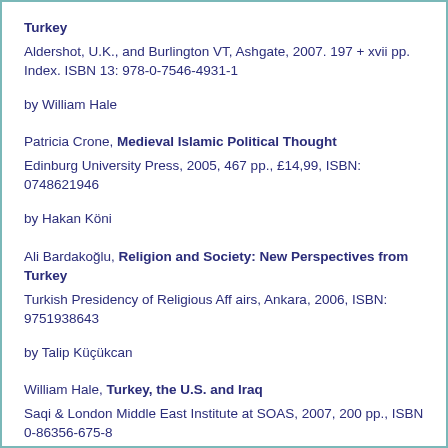Turkey
Aldershot, U.K., and Burlington VT, Ashgate, 2007. 197 + xvii pp. Index. ISBN 13: 978-0-7546-4931-1
by William Hale
Patricia Crone, Medieval Islamic Political Thought
Edinburg University Press, 2005, 467 pp., £14,99, ISBN: 0748621946
by Hakan Köni
Ali Bardakoğlu, Religion and Society: New Perspectives from Turkey
Turkish Presidency of Religious Affairs, Ankara, 2006, ISBN: 9751938643
by Talip Küçükcan
William Hale, Turkey, the U.S. and Iraq
Saqi & London Middle East Institute at SOAS, 2007, 200 pp., ISBN 0-86356-675-8